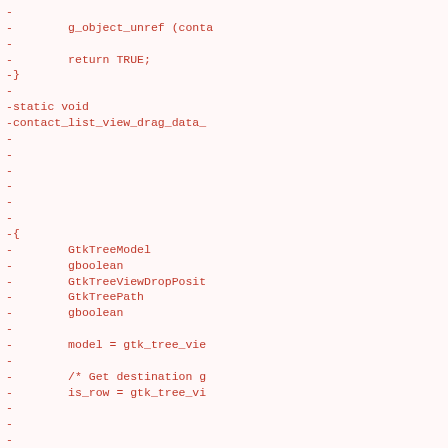-
-        g_object_unref (conta
-
-        return TRUE;
-}
-
-static void
-contact_list_view_drag_data_
-
-
-
-
-
-
-{
-        GtkTreeModel
-        gboolean
-        GtkTreeViewDropPosit
-        GtkTreePath
-        gboolean
-
-        model = gtk_tree_vie
-
-        /* Get destination g
-        is_row = gtk_tree_vi
-
-
-
-
-        if (!is_row) {
-                success = FA
-        }